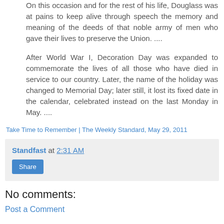On this occasion and for the rest of his life, Douglass was at pains to keep alive through speech the memory and meaning of the deeds of that noble army of men who gave their lives to preserve the Union. ....
After World War I, Decoration Day was expanded to commemorate the lives of all those who have died in service to our country. Later, the name of the holiday was changed to Memorial Day; later still, it lost its fixed date in the calendar, celebrated instead on the last Monday in May. ....
Take Time to Remember | The Weekly Standard, May 29, 2011
Standfast at 2:31 AM
Share
No comments:
Post a Comment